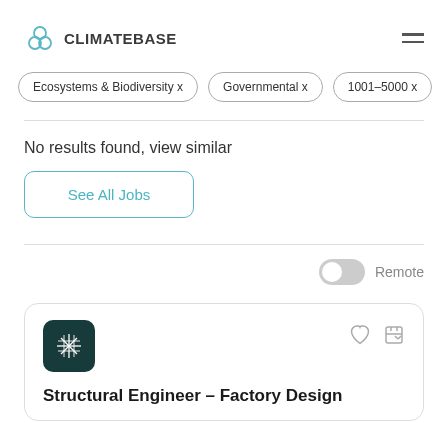CLIMATEBASE
Ecosystems & Biodiversity x
Governmental x
1001-5000 x
No results found, view similar
See All Jobs
Remote
Structural Engineer – Factory Design